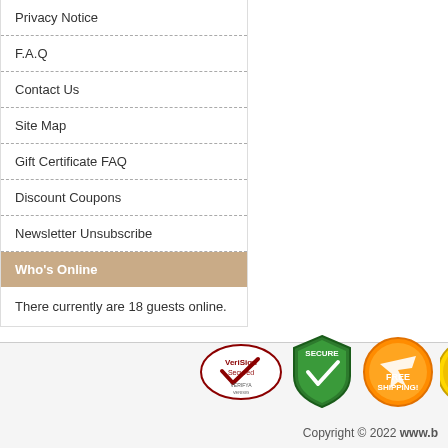Privacy Notice
F.A.Q
Contact Us
Site Map
Gift Certificate FAQ
Discount Coupons
Newsletter Unsubscribe
Who's Online
There currently are 18 guests online.
[Figure (logo): VeriSign Secured badge]
[Figure (logo): Secure shield badge with checkmark]
[Figure (logo): Free Shipping badge with airplane]
[Figure (logo): 100% Satisfaction Guarantee badge (partially visible)]
Copyright © 2022 www.b...